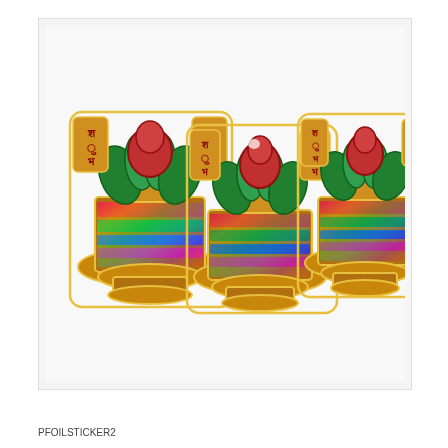[Figure (photo): Three decorative holographic foil stickers featuring Kalash (sacred pot) designs with Hindi text (Shubh Labh), lotus flowers, and colorful metallic rainbow holographic patterns. The stickers have gold borders and multi-colored iridescent surfaces with red, green, and blue hues.]
PFOILSTICKER2